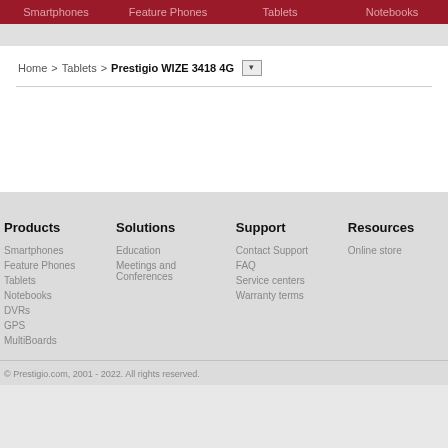Smartphones | Feature Phones | Tablets | Notebooks
Home > Tablets > Prestigio WIZE 3418 4G
Products
Smartphones
Feature Phones
Tablets
Notebooks
DVRs
GPS
MultiBoards
Solutions
Education
Meetings and Conferences
Support
Contact Support
FAQ
Service centers
Warranty terms
Resources
Online store
© Prestigio.com, 2001 - 2022. All rights reserved.